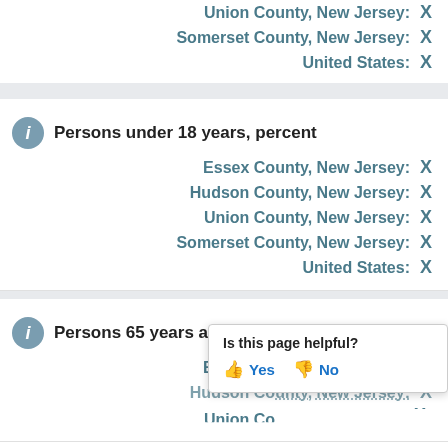Union County, New Jersey: X
Somerset County, New Jersey: X
United States: X
Persons under 18 years, percent
Essex County, New Jersey: X
Hudson County, New Jersey: X
Union County, New Jersey: X
Somerset County, New Jersey: X
United States: X
Persons 65 years and over, percent
Essex County, New Jersey: X
Hudson County, New Jersey: X
Union County, New Jersey: X
Somerset County, New Jersey: X